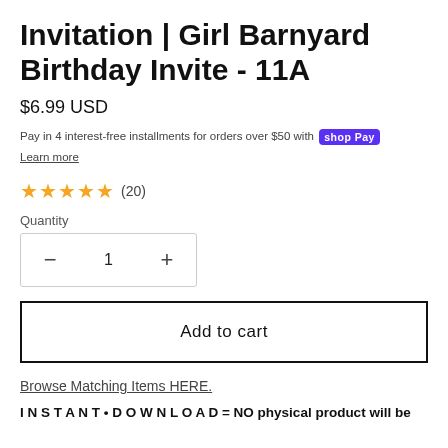Invitation | Girl Barnyard Birthday Invite - 11A
$6.99 USD
Pay in 4 interest-free installments for orders over $50 with Shop Pay
Learn more
★★★★★ (20)
Quantity
− 1 +
Add to cart
Browse Matching Items HERE.
INSTANT • DOWNLOAD = NO physical product will be